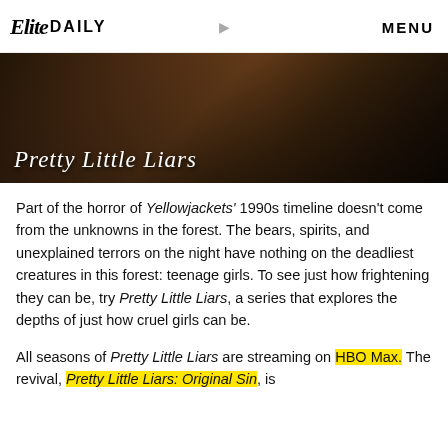Elite DAILY  MENU
[Figure (photo): Dark banner image showing a girl with long hair, with script text overlay reading 'Pretty Little Liars']
Part of the horror of Yellowjackets' 1990s timeline doesn't come from the unknowns in the forest. The bears, spirits, and unexplained terrors on the night have nothing on the deadliest creatures in this forest: teenage girls. To see just how frightening they can be, try Pretty Little Liars, a series that explores the depths of just how cruel girls can be.
All seasons of Pretty Little Liars are streaming on HBO Max. The revival, Pretty Little Liars: Original Sin, is